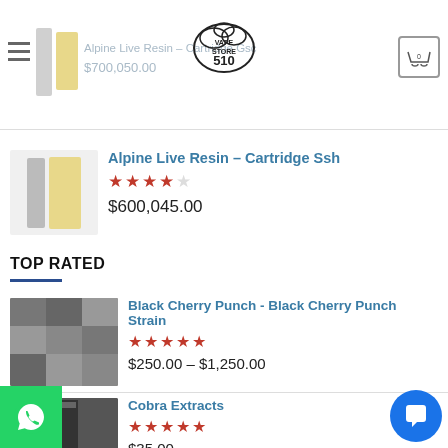Alpine Live Resin – Cartridge Gsc $700,050.00
[Figure (logo): Vape Store 510 circular logo]
Alpine Live Resin – Cartridge Ssh
Rating: 3.5 out of 5 stars
$600,045.00
TOP RATED
Black Cherry Punch - Black Cherry Punch Strain
Rating: 5 out of 5 stars
$250.00 – $1,250.00
Cobra Extracts
Rating: 5 out of 5 stars
$35.00